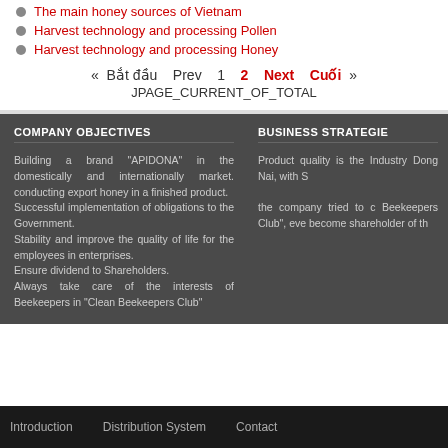The main honey sources of Vietnam
Harvest technology and processing Pollen
Harvest technology and processing Honey
« Bắt đầu   Prev   1   2   Next   Cuối »
JPAGE_CURRENT_OF_TOTAL
COMPANY OBJECTIVES
Building a brand "APIDONA" in the domestically and internationally market. conducting export honey in a finished product.
Successful implementation of obligations to the Government.
Stability and improve the quality of life for the employees in enterprises.
Ensure dividend to Shareholders.
Always take care of the interests of Beekeepers in "Clean Beekeepers Club"
BUSINESS STRATEGIE
Product quality is the Industry Dong Nai, with S
the company tried to c Beekeepers Club", eve become shareholder of th
Introduction   Distribution System   Contact